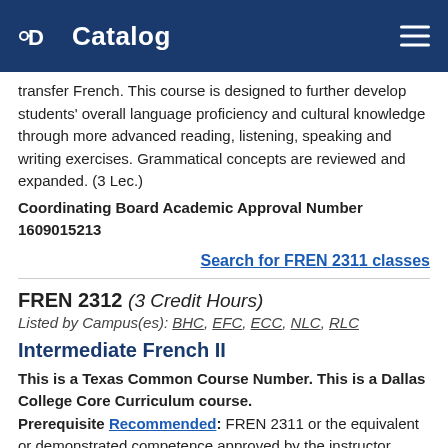Catalog
transfer French. This course is designed to further develop students' overall language proficiency and cultural knowledge through more advanced reading, listening, speaking and writing exercises. Grammatical concepts are reviewed and expanded. (3 Lec.)
Coordinating Board Academic Approval Number 1609015213
Search for FREN 2311 classes
FREN 2312 (3 Credit Hours)
Listed by Campus(es): BHC, EFC, ECC, NLC, RLC
Intermediate French II
This is a Texas Common Course Number. This is a Dallas College Core Curriculum course. Prerequisite Recommended: FREN 2311 or the equivalent or demonstrated competence approved by the instructor.